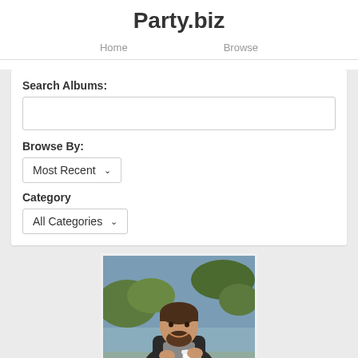Party.biz
Home   Browse
Search Albums:
Browse By: Most Recent
Category: All Categories
[Figure (photo): A smiling man with beard and mustache sitting outdoors near water, holding a white cup, wearing a dark jacket]
Profile Photos
By Julciano PETIT
1 photo